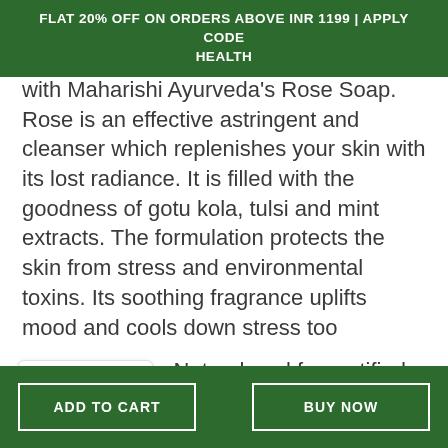FLAT 20% OFF ON ORDERS ABOVE INR 1199 | APPLY CODE HEALTH
with Maharishi Ayurveda's Rose Soap. Rose is an effective astringent and cleanser which replenishes your skin with its lost radiance. It is filled with the goodness of gotu kola, tulsi and mint extracts. The formulation protects the skin from stress and environmental toxins. Its soothing fragrance uplifts mood and cools down stress too
BDIH/ Cosmos Natural seal for certified cosmetics.
[Figure (screenshot): WhatsApp button with green WhatsApp logo icon and text 'WhatsApp']
ADD TO CART   BUY NOW